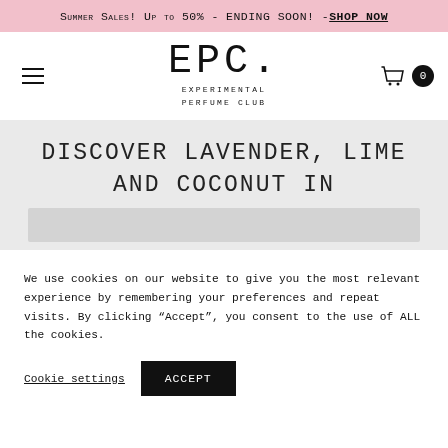Summer Sales! Up to 50% - ENDING SOON! - SHOP NOW
[Figure (logo): EPC. Experimental Perfume Club logo with hamburger menu and cart icon]
Discover lavender, lime and coconut in
We use cookies on our website to give you the most relevant experience by remembering your preferences and repeat visits. By clicking “Accept”, you consent to the use of ALL the cookies.
Cookie settings  ACCEPT